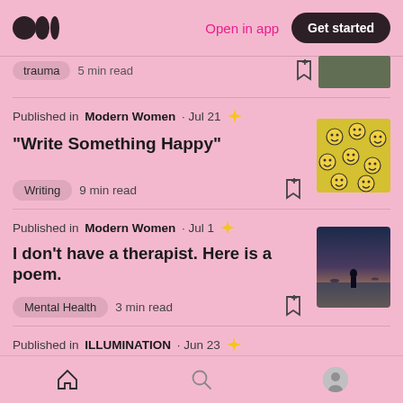Medium logo | Open in app | Get started
trauma · 5 min read (truncated top card)
Published in Modern Women · Jul 21
“Write Something Happy”
Writing  9 min read
Published in Modern Women · Jul 1
I don’t have a therapist. Here is a poem.
Mental Health  3 min read
Published in ILLUMINATION · Jun 23
Home | Search | Profile